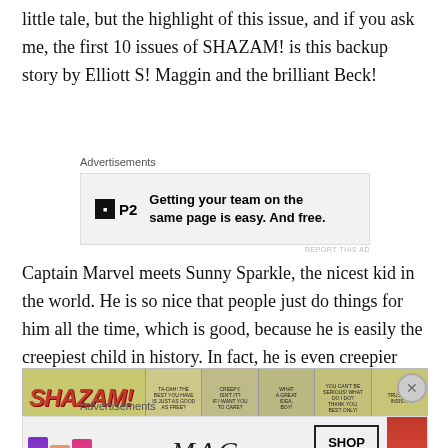little tale, but the highlight of this issue, and if you ask me, the first 10 issues of SHAZAM! is this backup story by Elliott S! Maggin and the brilliant Beck!
[Figure (infographic): Advertisement for P2 app: 'Getting your team on the same page is easy. And free.']
Captain Marvel meets Sunny Sparkle, the nicest kid in the world. He is so nice that people just do things for him all the time, which is good, because he is easily the creepiest child in history. In fact, he is even creepier looking than the live action kids on the cover of issue #2.
[Figure (illustration): Comic strip image showing SHAZAM! title logo and comic panels with speech bubbles]
[Figure (infographic): MAC cosmetics advertisement showing lipsticks with 'SHOP NOW' call to action]